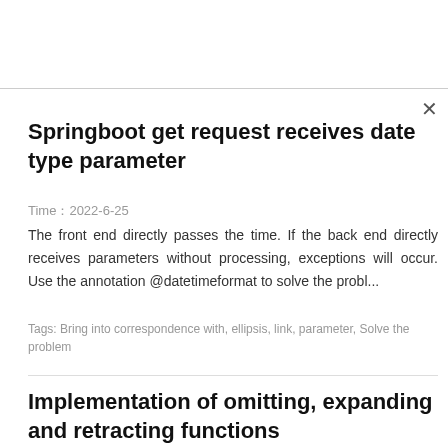Springboot get request receives date type parameter
Time：2022-6-25
The front end directly passes the time. If the back end directly receives parameters without processing, exceptions will occur. Use the annotation @datetimeformat to solve the probl...
Tags: Bring into correspondence with, ellipsis, link, parameter, Solve the problem
Implementation of omitting, expanding and retracting functions